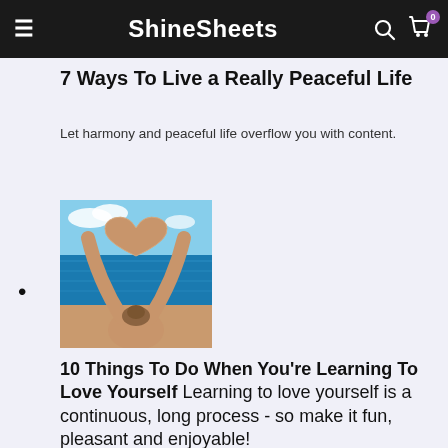ShineSheets
7 Ways To Live a Really Peaceful Life
Let harmony and peaceful life overflow you with content.
[Figure (photo): A person viewed from behind at the ocean, arms raised overhead forming a heart shape with their hands against a blue sky.]
10 Things To Do When You're Learning To Love Yourself Learning to love yourself is a continuous, long process - so make it fun, pleasant and enjoyable!